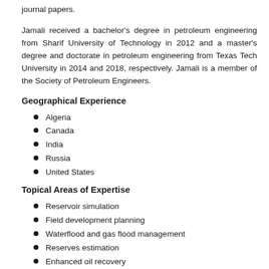journal papers.
Jamali received a bachelor's degree in petroleum engineering from Sharif University of Technology in 2012 and a master's degree and doctorate in petroleum engineering from Texas Tech University in 2014 and 2018, respectively. Jamali is a member of the Society of Petroleum Engineers.
Geographical Experience
Algeria
Canada
India
Russia
United States
Topical Areas of Expertise
Reservoir simulation
Field development planning
Waterflood and gas flood management
Reserves estimation
Enhanced oil recovery